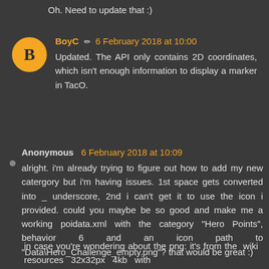Oh. Need to update that :)
BoyC ✏️ 6 February 2018 at 10:00
Updated. The API only contains 2D coordinates, which isn't enough information to display a marker in TacO.
Anonymous 6 February 2018 at 10:09
alright. i'm already trying to figure out how to add my new catergory but i'm having issues. 1st space gets converted into _ underscore, 2nd i can't get it to use the icon i provided. could you maybe be so good and make me a working poidata.xml with the category "Hero Points", behavior 6 and an icon path to "Data\Hero_Challenge_empty.png"? that would be great :)

in case you're wondering about the png: it's from the wiki resources. 32x32px 4kb with
in case you're wondering about the png: it's from the wiki  resources   32x32px   4kb   with